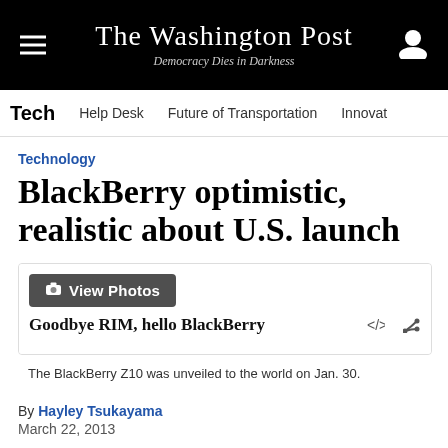The Washington Post — Democracy Dies in Darkness
Tech   Help Desk   Future of Transportation   Innovat
Technology
BlackBerry optimistic, realistic about U.S. launch
[Figure (photo): Photo gallery box: 'View Photos' button overlaid on image area. Caption reads 'Goodbye RIM, hello BlackBerry'. Sub-caption: 'The BlackBerry Z10 was unveiled to the world on Jan. 30.']
The BlackBerry Z10 was unveiled to the world on Jan. 30.
By Hayley Tsukayama
March 22, 2013